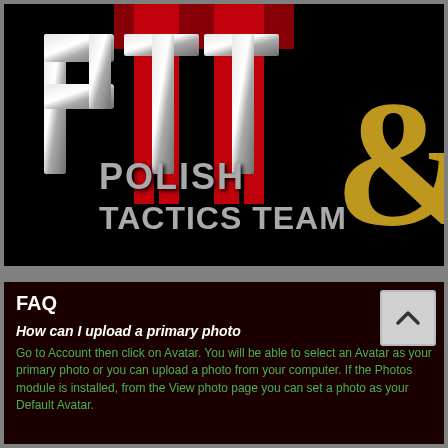[Figure (logo): Polish Tactics Team logo on black background. Large metallic silver letters 'PTT' with red stylized letters behind. Text reads 'POLISH TACTICS TEAM' in silver 3D lettering. A large gold ampersand '&' appears on the right side.]
FAQ
How can I upload a primary photo
Go to Account then click on Avatar. You will be able to select an Avatar as your primary photo or you can upload a photo from your computer. If the Photos module is installed, from the View photo page you can set a photo as your Default Avatar.